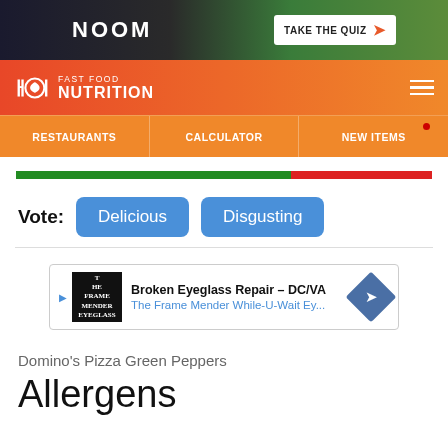[Figure (screenshot): NOOM advertisement banner with dark background and 'TAKE THE QUIZ' button with orange arrow]
FAST FOOD NUTRITION
RESTAURANTS  CALCULATOR  NEW ITEMS
[Figure (infographic): Progress bar with green (66%) and red (34%) segments]
Vote: Delicious  Disgusting
[Figure (screenshot): Advertisement: Broken Eyeglass Repair - DC/VA, The Frame Mender While-U-Wait Ey...]
Domino's Pizza Green Peppers
Allergens